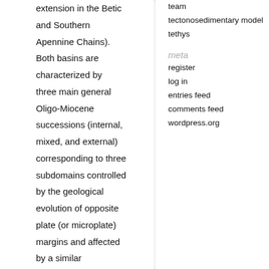extension in the Betic and Southern Apennine Chains). Both basins are characterized by three main general Oligo-Miocene successions (internal, mixed, and external) corresponding to three subdomains controlled by the geological evolution of opposite plate (or microplate) margins and affected by a similar tectonic evolution. The successions of the
team
tectonosedimentary model
tethys
meta
register
log in
entries feed
comments feed
wordpress.org